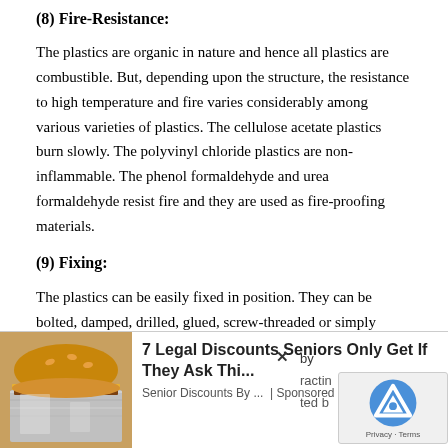(8) Fire-Resistance:
The plastics are organic in nature and hence all plastics are combustible. But, depending upon the structure, the resistance to high temperature and fire varies considerably among various varieties of plastics. The cellulose acetate plastics burn slowly. The polyvinyl chloride plastics are non-inflammable. The phenol formaldehyde and urea formaldehyde resist fire and they are used as fire-proofing materials.
(9) Fixing:
The plastics can be easily fixed in position. They can be bolted, damped, drilled, glued, screw-threaded or simply push-fitted in position.
(10) Humidity:
[Figure (other): Advertisement overlay showing a burger image and '7 Legal Discounts Seniors Only Get If They Ask Thi...' ad with reCAPTCHA widget]